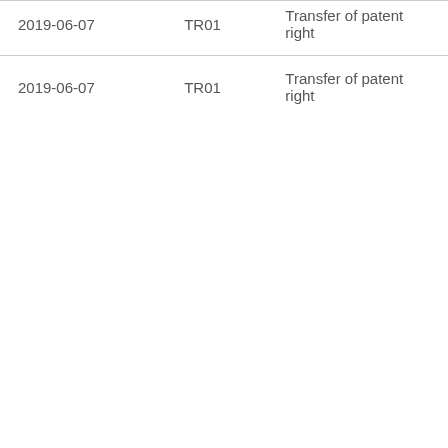| 2019-06-07 | TR01 | Transfer of patent right |
| 2019-06-07 | TR01 | Transfer of patent right |